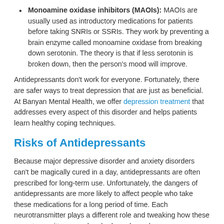Monoamine oxidase inhibitors (MAOIs): MAOIs are usually used as introductory medications for patients before taking SNRIs or SSRIs. They work by preventing a brain enzyme called monoamine oxidase from breaking down serotonin. The theory is that if less serotonin is broken down, then the person's mood will improve.
Antidepressants don't work for everyone. Fortunately, there are safer ways to treat depression that are just as beneficial. At Banyan Mental Health, we offer depression treatment that addresses every aspect of this disorder and helps patients learn healthy coping techniques.
Risks of Antidepressants
Because major depressive disorder and anxiety disorders can't be magically cured in a day, antidepressants are often prescribed for long-term use. Unfortunately, the dangers of antidepressants are more likely to affect people who take these medications for a long period of time. Each neurotransmitter plays a different role and tweaking how these neurotransmitters are absorbed or released may cause some unwanted side effects.
Some long-term risks of antidepressants include: